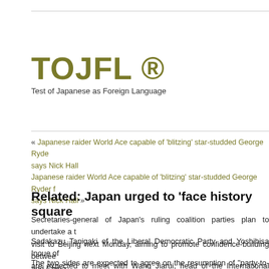TOJFL ®
Test of Japanese as Foreign Language
« Japanese raider World Ace capable of 'blitzing' star-studded George Ryde says Nick Hall
Japanese raider World Ace capable of 'blitzing' star-studded George Ryder f says Nick Hall »
Related: Japan urged to 'face history square
Secretaries-general of Japan's ruling coalition parties plan to undertake a visit to Beijing next Monday, aiming to promote confidence-building between and China.
Sadakazu Tanigaki of the Liberal Democratic Party and Yoshihisa Inoue of are expected to meet with Wang Jiarui, head of the International Departme CPC Central Committee, during their visit to Beijing, according to Kyodo Ne
The two sides are expected to agree on the resumption of "party-to-party e mechanism" that has been suspended since 2009.